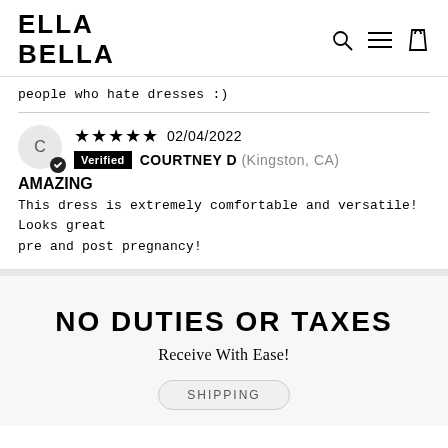ELLA BELLA
people who hate dresses :)
★★★★★ 02/04/2022 Verified COURTNEY D (Kingston, CA)
AMAZING
This dress is extremely comfortable and versatile! Looks great pre and post pregnancy!
NO DUTIES OR TAXES
Receive With Ease!
SHIPPING